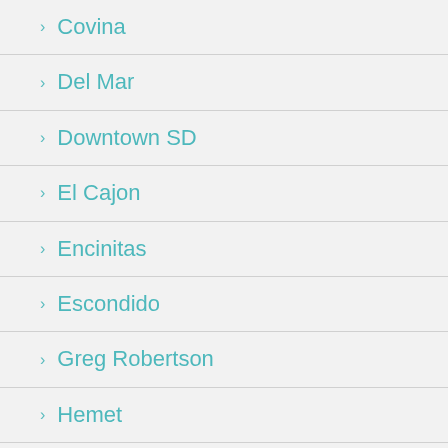Covina
Del Mar
Downtown SD
El Cajon
Encinitas
Escondido
Greg Robertson
Hemet